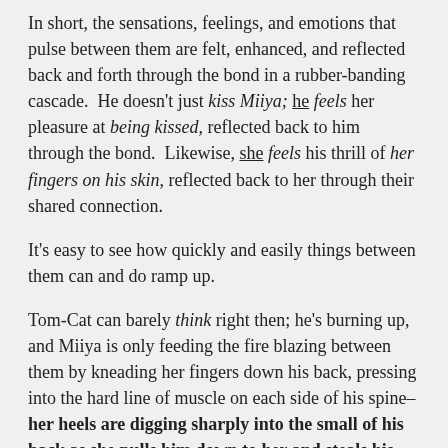In short, the sensations, feelings, and emotions that pulse between them are felt, enhanced, and reflected back and forth through the bond in a rubber-banding cascade.  He doesn't just kiss Miiya; he feels her pleasure at being kissed, reflected back to him through the bond.  Likewise, she feels his thrill of her fingers on his skin, reflected back to her through their shared connection.
It's easy to see how quickly and easily things between them can and do ramp up.
Tom-Cat can barely think right then; he's burning up, and Miiya is only feeding the fire blazing between them by kneading her fingers down his back, pressing into the hard line of muscle on each side of his spine–her heels are digging sharply into the small of his back as she pulls him down to her and steals his breath.  His resolve to wait is crumbling faster than a sandcastle at high tide, and he can't even remember what his whole reason for doing so was, in the first place.  It had to have been something utterly